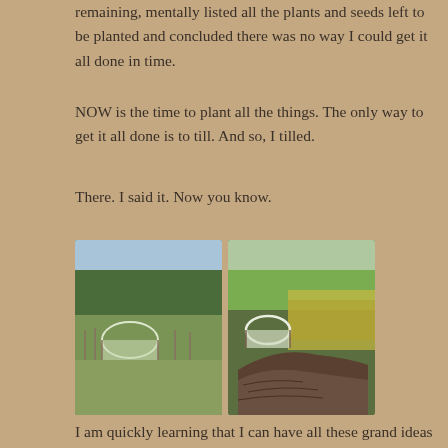remaining, mentally listed all the plants and seeds left to be planted and concluded there was no way I could get it all done in time.
NOW is the time to plant all the things. The only way to get it all done is to till. And so, I tilled.
There. I said it. Now you know.
[Figure (photo): Two side-by-side farm photos: left shows a green grassy field with a greenhouse/hoop house structure and trees in background; right shows freshly tilled dark soil rows next to a hoop house with yellow wildflowers in background.]
I am quickly learning that I can have all these grand ideas and ideals, but I am often short on the time and resources necessary to make them happen. I must adapt. Roll with the punches and move on.